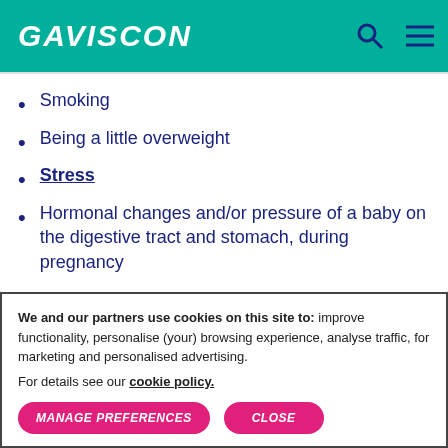GAVISCON
Smoking
Being a little overweight
Stress
Hormonal changes and/or pressure of a baby on the digestive tract and stomach, during pregnancy
We and our partners use cookies on this site to: improve functionality, personalise (your) browsing experience, analyse traffic, for marketing and personalised advertising.

For details see our cookie policy.
MANAGE PREFERENCES   CLOSE